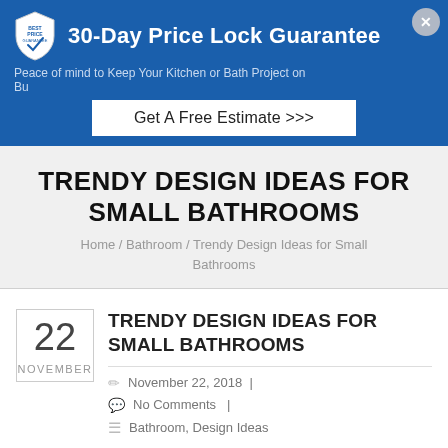[Figure (other): Blue promotional banner with shield logo, '30-Day Price Lock Guarantee' heading, subtitle text, 'Get A Free Estimate >>>' button, and close button]
TRENDY DESIGN IDEAS FOR SMALL BATHROOMS
Home / Bathroom / Trendy Design Ideas for Small Bathrooms
22 NOVEMBER
TRENDY DESIGN IDEAS FOR SMALL BATHROOMS
November 22, 2018  |
No Comments  |
Bathroom, Design Ideas